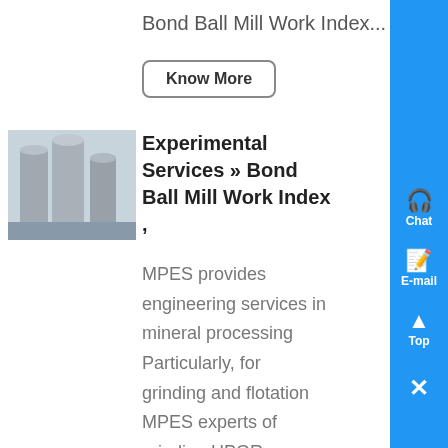Bond Ball Mill Work Index...
Know More
[Figure (photo): Industrial silos or tanks in a processing facility]
Experimental Services » Bond Ball Mill Work Index ,
MPES provides engineering services in mineral processing Particularly, for grinding and flotation MPES experts of grinding HPGR, SAG/AG, Ball Mill grinding and flotation offer expertise level detailed mill and flotation solutions Flowsheet design and optimization, Population Balance Modeling, Discrete Element Modeling are the main areas on which MPES feels so strong in all over the world...